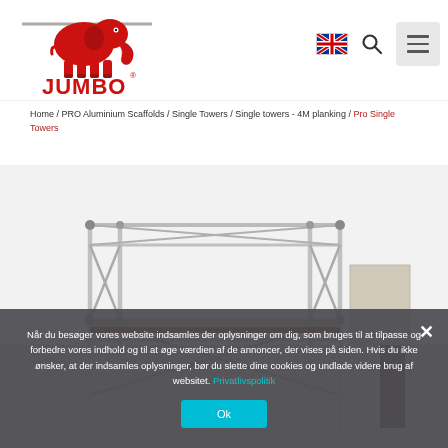[Figure (logo): Jumbo scaffolding company logo with red elephant mascot and JUMBO text in red]
[Figure (infographic): UK flag icon, search icon, and hamburger menu button in navigation bar]
Home / PRO Aluminium Scaffolds / Single Towers / Single towers - 4M planking / Pro Single Towers
[Figure (photo): Aluminium scaffolding tower structure, partially visible, rendered 3D product image on white background]
Når du besøger vores website indsamles der oplysninger om dig, som bruges til at tilpasse og forbedre vores indhold og til at øge værdien af de annoncer, der vises på siden. Hvis du ikke ønsker, at der indsamles oplysninger, bør du slette dine cookies og undlade videre brug af websitet. Privatlivspolitik
Ok